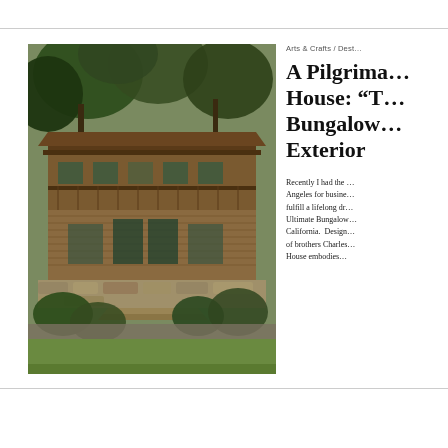[Figure (photo): Exterior photograph of a large Arts and Crafts style bungalow house with wooden construction, wide overhanging eaves, balconies, surrounded by trees and green lawn.]
Arts & Crafts / Dest…
A Pilgrimage House: “T… Bungalow… Exterior
Recently I had the … Angeles for busine… fulfill a lifelong dr… Ultimate Bungalow… California.  Design… of brothers Charles… House embodies…